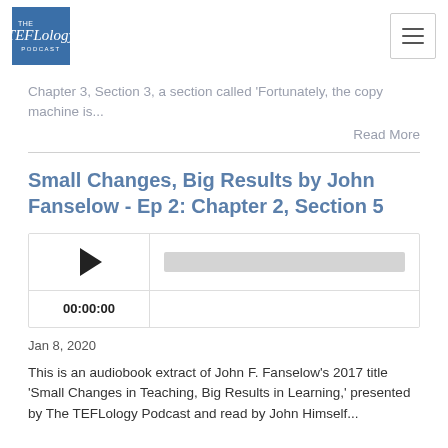TEFLology Podcast
Chapter 3, Section 3, a section called 'Fortunately, the copy machine is...
Read More
Small Changes, Big Results by John Fanselow - Ep 2: Chapter 2, Section 5
[Figure (other): Audio player with play button, progress bar, and time display showing 00:00:00]
Jan 8, 2020
This is an audiobook extract of John F. Fanselow's 2017 title 'Small Changes in Teaching, Big Results in Learning,' presented by The TEFLology Podcast and read by John Himself...